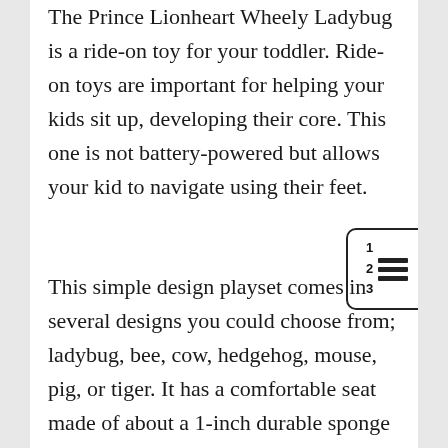The Prince Lionheart Wheely Ladybug is a ride-on toy for your toddler. Ride-on toys are important for helping your kids sit up, developing their core. This one is not battery-powered but allows your kid to navigate using their feet.
[Figure (illustration): A small icon showing a numbered list (1, 2, 3) with horizontal lines next to each number, inside a rounded rectangle border.]
This simple design playset comes in several designs you could choose from; ladybug, bee, cow, hedgehog, mouse, pig, or tiger. It has a comfortable seat made of about a 1-inch durable sponge layer. There are four wheels and a handle for stability and you